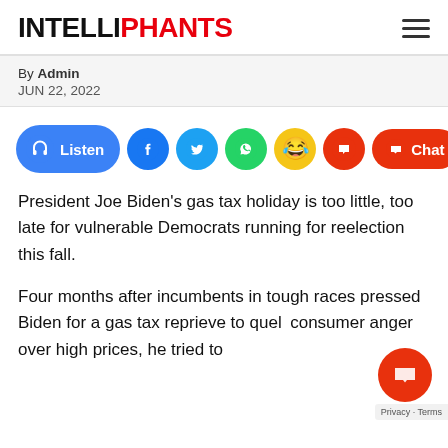INTELLIPHANTS
By Admin
JUN 22, 2022
[Figure (infographic): Social sharing bar with Listen button, Facebook, Twitter, WhatsApp, emoji, comment, Chat, and share icons]
President Joe Biden's gas tax holiday is too little, too late for vulnerable Democrats running for reelection this fall.
Four months after incumbents in tough races pressed Biden for a gas tax reprieve to quell consumer anger over high prices, he tried to show he's listening by announcing a three-month